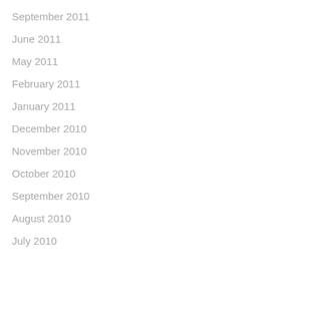September 2011
June 2011
May 2011
February 2011
January 2011
December 2010
November 2010
October 2010
September 2010
August 2010
July 2010